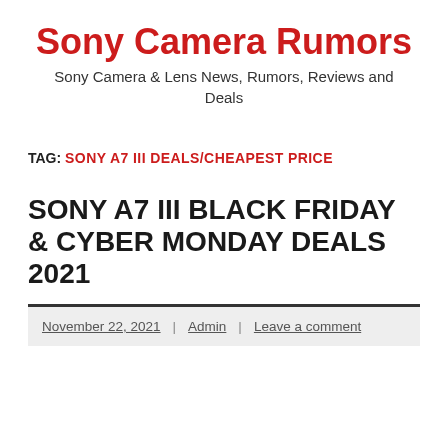Sony Camera Rumors
Sony Camera & Lens News, Rumors, Reviews and Deals
TAG: SONY A7 III DEALS/CHEAPEST PRICE
SONY A7 III BLACK FRIDAY & CYBER MONDAY DEALS 2021
November 22, 2021 | Admin | Leave a comment